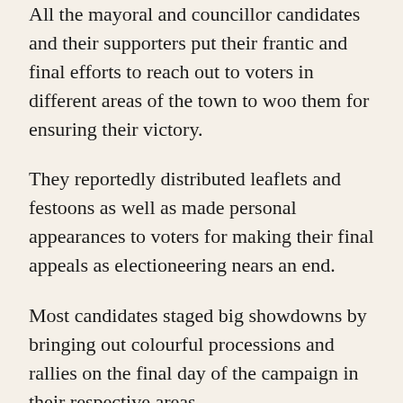All the mayoral and councillor candidates and their supporters put their frantic and final efforts to reach out to voters in different areas of the town to woo them for ensuring their victory.
They reportedly distributed leaflets and festoons as well as made personal appearances to voters for making their final appeals as electioneering nears an end.
Most candidates staged big showdowns by bringing out colourful processions and rallies on the final day of the campaign in their respective areas.
The Election Commission (EC) on Saturday was seen requesting all the outsiders to leave the city corporation area within 12 am Sunday using loud speakers.
Besides, the EC has taken all the necessary